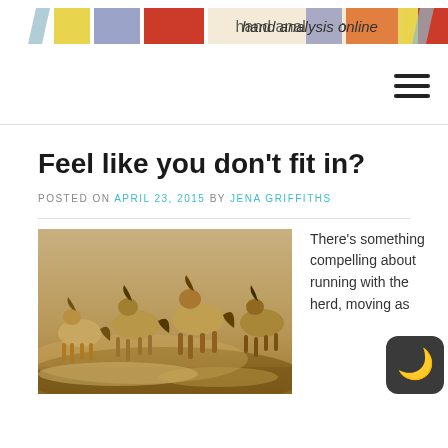[Figure (logo): Hand analysis online website banner with colorful stripes and text 'hand analysis online']
Feel like you don't fit in?
POSTED ON APRIL 23, 2015 BY JENA GRIFFITHS
[Figure (photo): Wild horses running together in a dusty landscape]
There's something compelling about running with the herd, moving as...